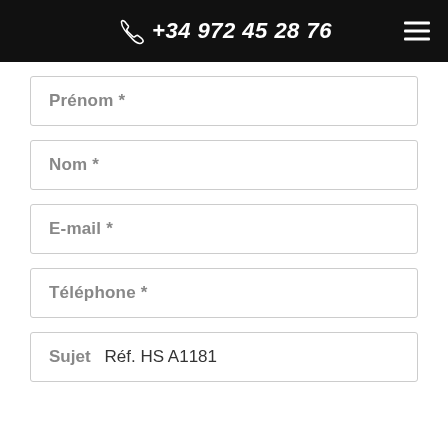+34 972 45 28 76
Prénom *
Nom *
E-mail *
Téléphone *
Sujet   Réf. HS A1181